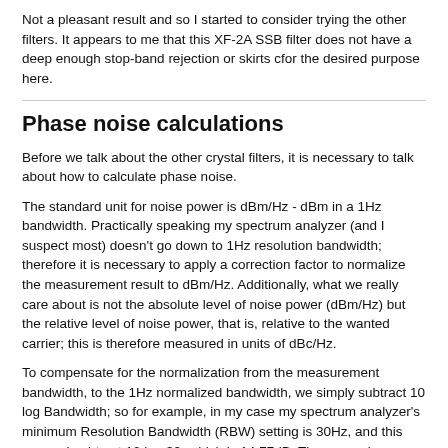Not a pleasant result and so I started to consider trying the other filters. It appears to me that this XF-2A SSB filter does not have a deep enough stop-band rejection or skirts cfor the desired purpose here.
Phase noise calculations
Before we talk about the other crystal filters, it is necessary to talk about how to calculate phase noise.
The standard unit for noise power is dBm/Hz - dBm in a 1Hz bandwidth. Practically speaking my spectrum analyzer (and I suspect most) doesn't go down to 1Hz resolution bandwidth; therefore it is necessary to apply a correction factor to normalize the measurement result to dBm/Hz. Additionally, what we really care about is not the absolute level of noise power (dBm/Hz) but the relative level of noise power, that is, relative to the wanted carrier; this is therefore measured in units of dBc/Hz.
To compensate for the normalization from the measurement bandwidth, to the 1Hz normalized bandwidth, we simply subtract 10 log Bandwidth; so for example, in my case my spectrum analyzer's minimum Resolution Bandwidth (RBW) setting is 30Hz, and this means I subtract 10 log 30, which is 14.77dB. There are also some other factors to include:
A correction of 2.5dB...